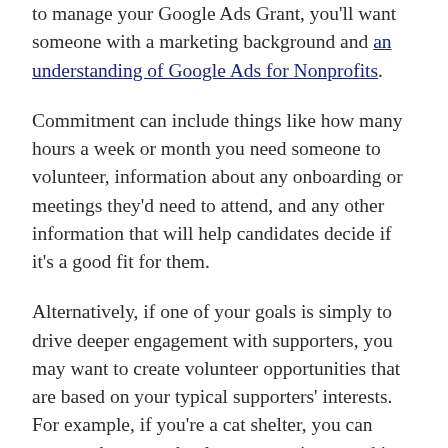to manage your Google Ads Grant, you'll want someone with a marketing background and an understanding of Google Ads for Nonprofits.
Commitment can include things like how many hours a week or month you need someone to volunteer, information about any onboarding or meetings they'd need to attend, and any other information that will help candidates decide if it's a good fit for them.
Alternatively, if one of your goals is simply to drive deeper engagement with supporters, you may want to create volunteer opportunities that are based on your typical supporters' interests. For example, if you're a cat shelter, you can assume donors and volunteers are interested in animal welfare. Brainstorm some ways they can support your organization where they can see an immediate impact such as working at your shelter, running supply drives, or raising money for your animals.